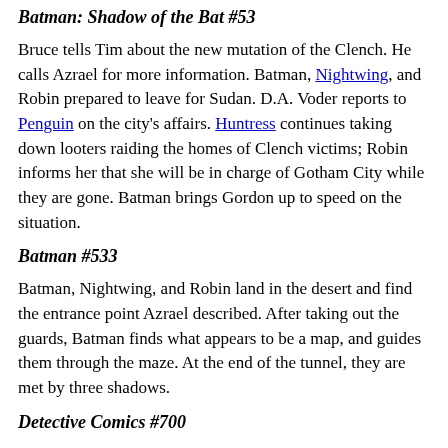Batman: Shadow of the Bat #53
Bruce tells Tim about the new mutation of the Clench. He calls Azrael for more information. Batman, Nightwing, and Robin prepared to leave for Sudan. D.A. Voder reports to Penguin on the city's affairs. Huntress continues taking down looters raiding the homes of Clench victims; Robin informs her that she will be in charge of Gotham City while they are gone. Batman brings Gordon up to speed on the situation.
Batman #533
Batman, Nightwing, and Robin land in the desert and find the entrance point Azrael described. After taking out the guards, Batman finds what appears to be a map, and guides them through the maze. At the end of the tunnel, they are met by three shadows.
Detective Comics #700
Ra's al Ghul, Talia, and Ubu (Ra's servant) stand above Batman, Nightwing, and Robin. Ra's orders them killed. Nightwing is wounded while running for cover. They discover that the ancient wheel beneath the desert has generated a plague virus, part of Ra's' plan to "cleanse" the world of 90% of humanity. His technicians finish digitally rendering the wheel; Ra's orders the entire underground facility, including the wheel, destroyed, so Ubu floods